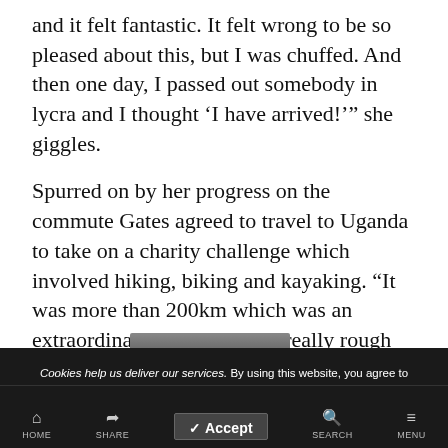and it felt fantastic. It felt wrong to be so pleased about this, but I was chuffed. And then one day, I passed out somebody in lycra and I thought 'I have arrived!'" she giggles.
Spurred on by her progress on the commute Gates agreed to travel to Uganda to take on a charity challenge which involved hiking, biking and kayaking. "It was more than 200km which was an extraordinary experience on really rough terrain. I couldn't believe how strong and fit I was on the bike and I literally put that down to all those days cycling in and out of work."
[Figure (photo): Partial photo visible at the bottom of the page, obscured by cookie consent bar and navigation bar]
Cookies help us deliver our services. By using this website, you agree to our use of cookies. Learn More
✓ Accept
HOME  SHARE  SEARCH  MENU